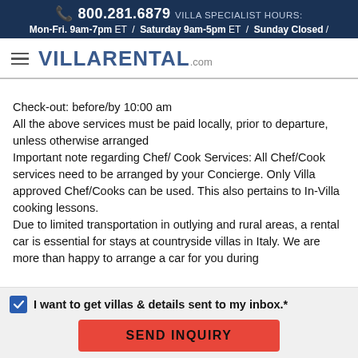📞 800.281.6879  VILLA SPECIALIST HOURS: Mon-Fri. 9am-7pm ET / Saturday 9am-5pm ET / Sunday Closed /
[Figure (logo): VillaRental.com logo with hamburger menu icon]
Check-out: before/by 10:00 am
All the above services must be paid locally, prior to departure, unless otherwise arranged
Important note regarding Chef/ Cook Services: All Chef/Cook services need to be arranged by your Concierge. Only Villa approved Chef/Cooks can be used. This also pertains to In-Villa cooking lessons.
Due to limited transportation in outlying and rural areas, a rental car is essential for stays at countryside villas in Italy. We are more than happy to arrange a car for you during
I want to get villas & details sent to my inbox.*
SEND INQUIRY